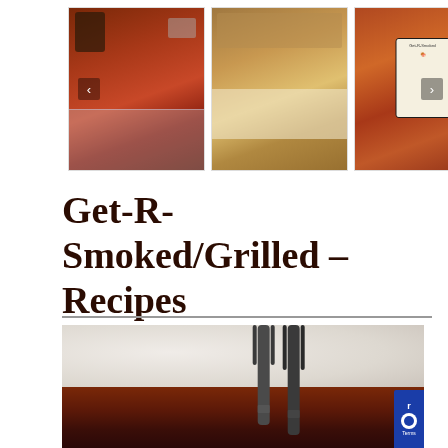[Figure (photo): Image carousel showing three food photos: raw meat in container, shredded cheese on dish, and tablet with cookbook on wooden surface. Left and right navigation arrows visible.]
Get-R-Smoked/Grilled - Recipes
[Figure (photo): Close-up photo of BBQ ribs or smoked meat on a white plate with a dark fork]